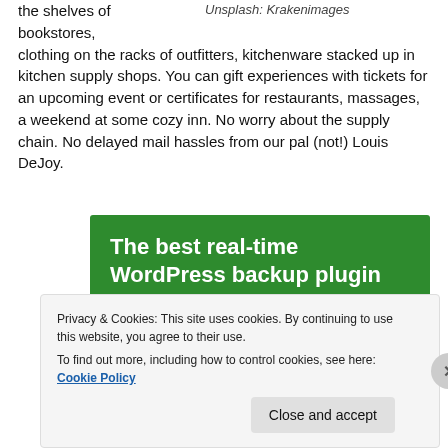Unsplash: Krakenimages
the shelves of bookstores, clothing on the racks of outfitters, kitchenware stacked up in kitchen supply shops. You can gift experiences with tickets for an upcoming event or certificates for restaurants, massages, a weekend at some cozy inn. No worry about the supply chain. No delayed mail hassles from our pal (not!) Louis DeJoy.
[Figure (screenshot): Green advertisement banner for 'The best real-time WordPress backup plugin' with a 'Back up your site' button in white on green background.]
Privacy & Cookies: This site uses cookies. By continuing to use this website, you agree to their use.
To find out more, including how to control cookies, see here: Cookie Policy
Close and accept